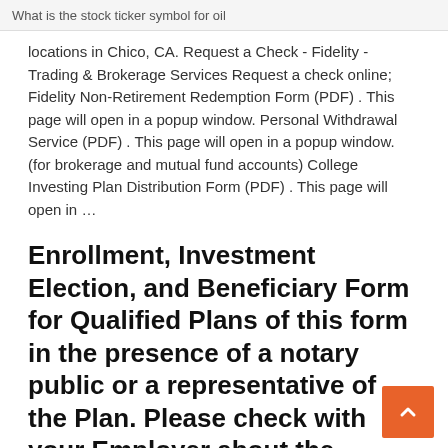What is the stock ticker symbol for oil
locations in Chico, CA. Request a Check - Fidelity - Trading & Brokerage Services Request a check online; Fidelity Non-Retirement Redemption Form (PDF) . This page will open in a popup window. Personal Withdrawal Service (PDF) . This page will open in a popup window. (for brokerage and mutual fund accounts) College Investing Plan Distribution Form (PDF) . This page will open in …
Enrollment, Investment Election, and Beneficiary Form for Qualified Plans of this form in the presence of a notary public or a representative of the Plan. Please check with your Employer about the spousal consent and any A division of Fidelity Investments